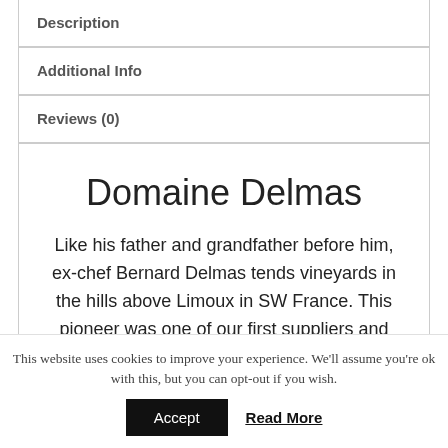Description
Additional Info
Reviews (0)
Domaine Delmas
Like his father and grandfather before him, ex-chef Bernard Delmas tends vineyards in the hills above Limoux in SW France. This pioneer was one of our first suppliers and says ‘fate’ called him
This website uses cookies to improve your experience. We'll assume you're ok with this, but you can opt-out if you wish.